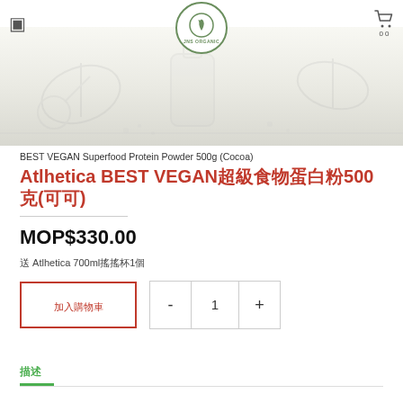JNS Organic logo with hamburger menu and cart icon
[Figure (photo): Hero background image with faded organic/plant-related visual elements on light beige background]
BEST VEGAN Superfood Protein Powder 500g (Cocoa)
Atlhetica BEST VEGAN超級食物蛋白粉500克(可可)
MOP$330.00
送 Atlhetica 700ml搖搖杯1個
加入購物車 - 1 +
描述